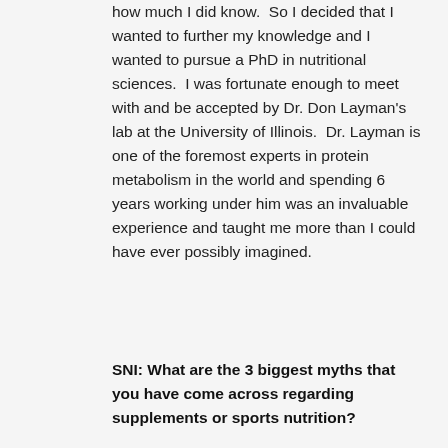how much I did know.  So I decided that I wanted to further my knowledge and I wanted to pursue a PhD in nutritional sciences.  I was fortunate enough to meet with and be accepted by Dr. Don Layman's lab at the University of Illinois.  Dr. Layman is one of the foremost experts in protein metabolism in the world and spending 6 years working under him was an invaluable experience and taught me more than I could have ever possibly imagined.
SNI: What are the 3 biggest myths that you have come across regarding supplements or sports nutrition?